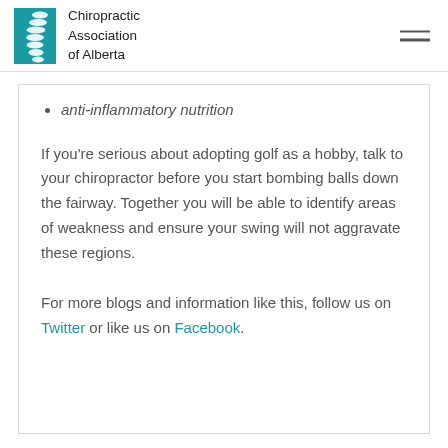[Figure (logo): Chiropractic Association of Alberta logo with teal spine graphic and text]
anti-inflammatory nutrition
If you’re serious about adopting golf as a hobby, talk to your chiropractor before you start bombing balls down the fairway. Together you will be able to identify areas of weakness and ensure your swing will not aggravate these regions.
For more blogs and information like this, follow us on Twitter or like us on Facebook.